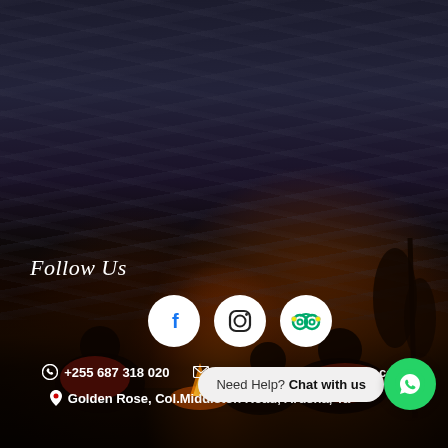[Figure (photo): Background photo of people sitting around a campfire at night under a dramatic cloudy sky, with warm orange glow from the fire, dark silhouetted figures and trees in background]
Follow Us
[Figure (infographic): Row of three social media icon circles: Facebook, Instagram, TripAdvisor]
☏ +255 687 318 020   ✉ info@crosstoafricasafaris.com
📍 Golden Rose, Col.Middleton Road, Arusha, Tanzania
Need Help? Chat with us